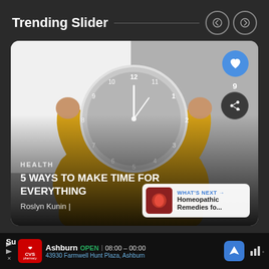Trending Slider
[Figure (screenshot): A UI card showing a news article thumbnail. Person in yellow sweater holding a gray clock over their face. Card shows category label HEALTH, article title '5 WAYS TO MAKE TIME FOR EVERYTHING', author Roslyn Kunin, like button with count 9, share button, and a 'What's Next' panel for Homeopathic Remedies.]
HEALTH
5 WAYS TO MAKE TIME FOR EVERYTHING
Roslyn Kunin
WHAT'S NEXT → Homeopathic Remedies fo...
Ashburn OPEN | 08:00 – 00:00
43930 Farmwell Hunt Plaza, Ashburn